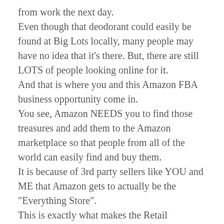from work the next day. Even though that deodorant could easily be found at Big Lots locally, many people may have no idea that it's there. But, there are still LOTS of people looking online for it. And that is where you and this Amazon FBA business opportunity come in. You see, Amazon NEEDS you to find those treasures and add them to the Amazon marketplace so that people from all of the world can easily find and buy them. It is because of 3rd party sellers like YOU and ME that Amazon gets to actually be the "Everything Store". This is exactly what makes the Retail Arbitrage business model work so well with the Amazon FBA Program! You get to bring the products people are looking for to the Amazon marketplace and make a profit while doing so.